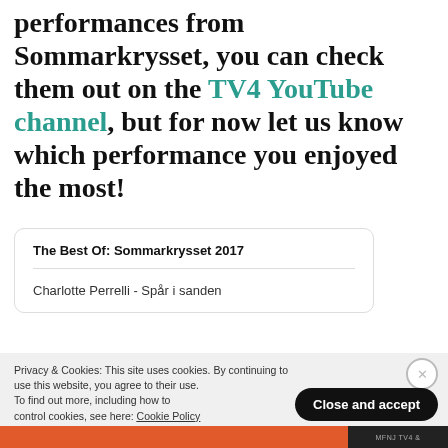performances from Sommarkrysset, you can check them out on the TV4 YouTube channel, but for now let us know which performance you enjoyed the most!
The Best Of: Sommarkrysset 2017
Charlotte Perrelli - Spår i sanden
Privacy & Cookies: This site uses cookies. By continuing to use this website, you agree to their use. To find out more, including how to control cookies, see here: Cookie Policy